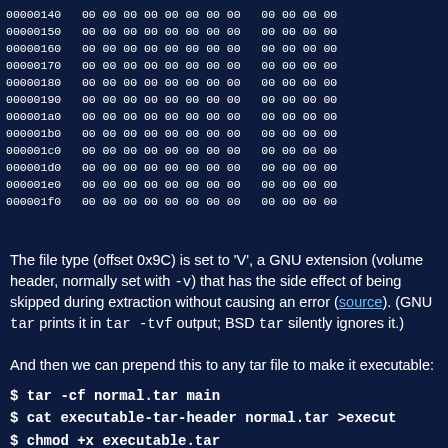00000140   00 00 00 00 00 00 00 00   00 00 00 00
00000150   00 00 00 00 00 00 00 00   00 00 00 00
00000160   00 00 00 00 00 00 00 00   00 00 00 00
00000170   00 00 00 00 00 00 00 00   00 00 00 00
00000180   00 00 00 00 00 00 00 00   00 00 00 00
00000190   00 00 00 00 00 00 00 00   00 00 00 00
000001a0   00 00 00 00 00 00 00 00   00 00 00 00
000001b0   00 00 00 00 00 00 00 00   00 00 00 00
000001c0   00 00 00 00 00 00 00 00   00 00 00 00
000001d0   00 00 00 00 00 00 00 00   00 00 00 00
000001e0   00 00 00 00 00 00 00 00   00 00 00 00
000001f0   00 00 00 00 00 00 00 00   00 00 00 00
The file type (offset 0x9C) is set to 'V', a GNU extension (volume header, normally set with -v) that has the side effect of being skipped during extraction without causing an error (source). (GNU tar prints it in tar -tvf output; BSD tar silently ignores it.)
And then we can prepend this to any tar file to make it executable:
$ tar -cf normal.tar main
$ cat executable-tar-header normal.tar >execut
$ chmod +x executable.tar